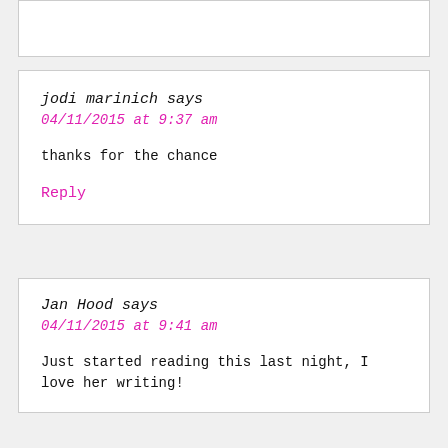jodi marinich says
04/11/2015 at 9:37 am
thanks for the chance
Reply
Jan Hood says
04/11/2015 at 9:41 am
Just started reading this last night, I love her writing!